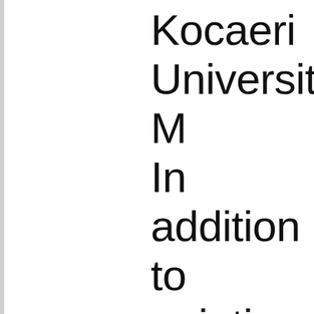Kocaeri University M In addition to paintin work also includes a public art projects o closely works with d designers, architect community boards. paintings have been textiles as well as c